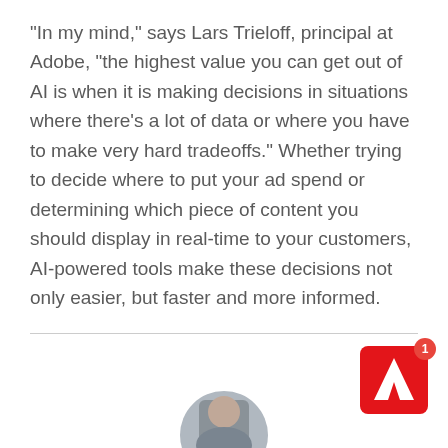"In my mind," says Lars Trieloff, principal at Adobe, "the highest value you can get out of AI is when it is making decisions in situations where there's a lot of data or where you have to make very hard tradeoffs." Whether trying to decide where to put your ad spend or determining which piece of content you should display in real-time to your customers, AI-powered tools make these decisions not only easier, but faster and more informed.
[Figure (logo): Adobe logo (white A on red background) with a notification badge showing number 1]
[Figure (photo): Circular cropped photo of a person at the bottom center of the page]